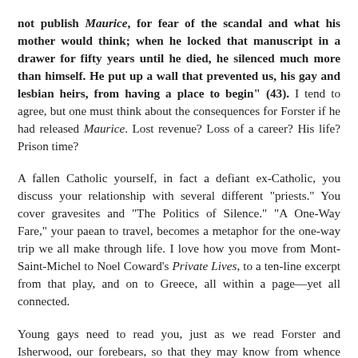not publish Maurice, for fear of the scandal and what his mother would think; when he locked that manuscript in a drawer for fifty years until he died, he silenced much more than himself. He put up a wall that prevented us, his gay and lesbian heirs, from having a place to begin" (43). I tend to agree, but one must think about the consequences for Forster if he had released Maurice. Lost revenue? Loss of a career? His life? Prison time?
A fallen Catholic yourself, in fact a defiant ex-Catholic, you discuss your relationship with several different "priests." You cover gravesites and "The Politics of Silence." "A One-Way Fare," your paean to travel, becomes a metaphor for the one-way trip we all make through life. I love how you move from Mont-Saint-Michel to Noel Coward's Private Lives, to a ten-line excerpt from that play, and on to Greece, all within a page—yet all connected.
Young gays need to read you, just as we read Forster and Isherwood, our forebears, so that they may know from whence they come. They must realize that the fight for freedom and equality is never over. It just shifts from one opponent to another. You fought to bring AIDS into